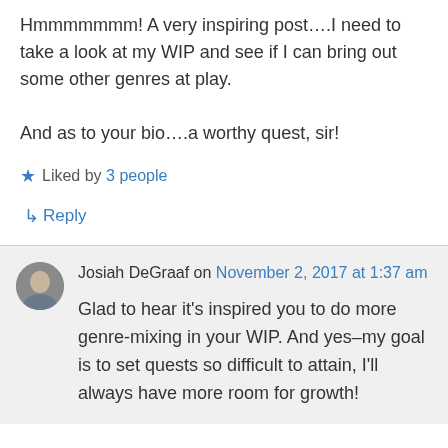Hmmmmmmm! A very inspiring post….I need to take a look at my WIP and see if I can bring out some other genres at play.

And as to your bio….a worthy quest, sir!
★ Liked by 3 people
↳ Reply
Josiah DeGraaf on November 2, 2017 at 1:37 am
Glad to hear it's inspired you to do more genre-mixing in your WIP. And yes–my goal is to set quests so difficult to attain, I'll always have more room for growth!